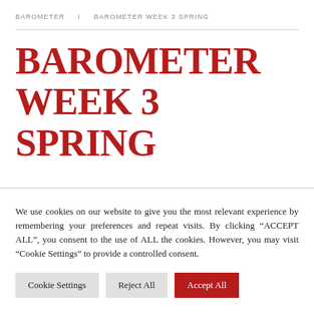BAROMETER   I   BAROMETER WEEK 3 SPRING
BAROMETER WEEK 3 SPRING
We use cookies on our website to give you the most relevant experience by remembering your preferences and repeat visits. By clicking “ACCEPT ALL”, you consent to the use of ALL the cookies. However, you may visit “Cookie Settings” to provide a controlled consent.